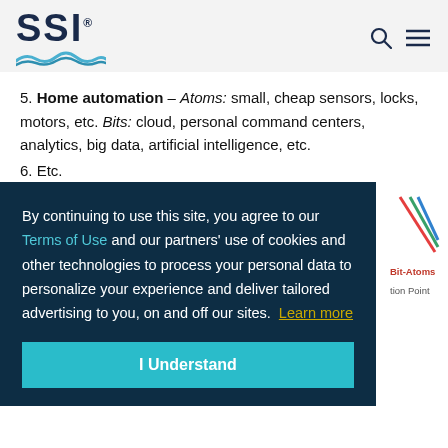SSI
5. Home automation – Atoms: small, cheap sensors, locks, motors, etc. Bits: cloud, personal command centers, analytics, big data, artificial intelligence, etc.
6. Etc.
By continuing to use this site, you agree to our Terms of Use and our partners' use of cookies and other technologies to process your personal data to personalize your experience and deliver tailored advertising to you, on and off our sites. Learn more
I Understand